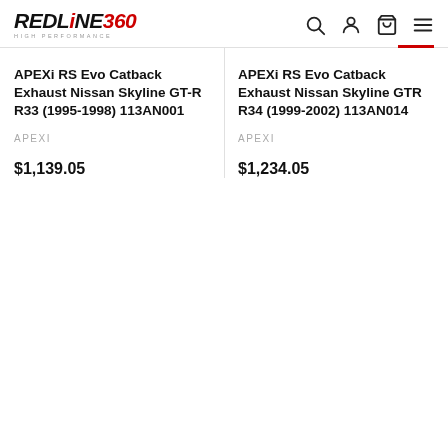REDLINE360 HIGH PERFORMANCE
APEXi RS Evo Catback Exhaust Nissan Skyline GT-R R33 (1995-1998) 113AN001
APEXI
$1,139.05
APEXi RS Evo Catback Exhaust Nissan Skyline GTR R34 (1999-2002) 113AN014
APEXI
$1,234.05